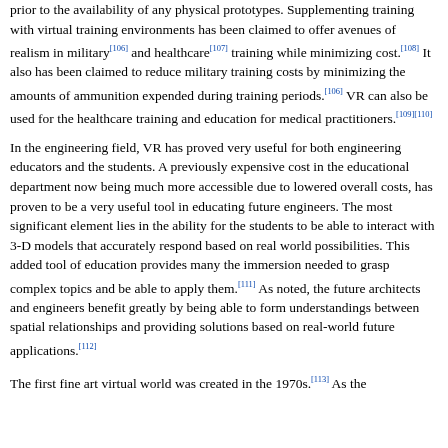prior to the availability of any physical prototypes. Supplementing training with virtual training environments has been claimed to offer avenues of realism in military[106] and healthcare[107] training while minimizing cost.[108] It also has been claimed to reduce military training costs by minimizing the amounts of ammunition expended during training periods.[106] VR can also be used for the healthcare training and education for medical practitioners.[109][110]
In the engineering field, VR has proved very useful for both engineering educators and the students. A previously expensive cost in the educational department now being much more accessible due to lowered overall costs, has proven to be a very useful tool in educating future engineers. The most significant element lies in the ability for the students to be able to interact with 3-D models that accurately respond based on real world possibilities. This added tool of education provides many the immersion needed to grasp complex topics and be able to apply them.[111] As noted, the future architects and engineers benefit greatly by being able to form understandings between spatial relationships and providing solutions based on real-world future applications.[112]
The first fine art virtual world was created in the 1970s.[113] As the